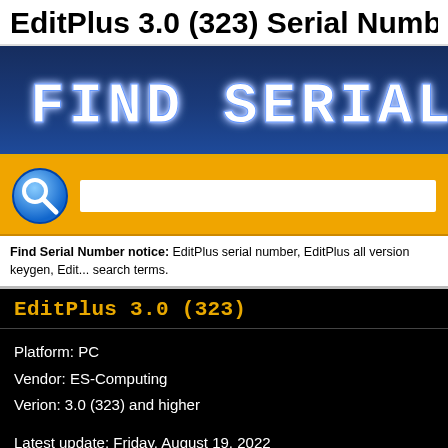EditPlus 3.0 (323) Serial Number
[Figure (illustration): Dark blue banner with 'FIND SERIAL' text in dot-matrix/LED style white font on dark navy blue gradient background]
[Figure (other): Orange search bar with blue circular search/magnifying glass icon on left and white search input field on right]
Find Serial Number notice: EditPlus serial number, EditPlus all version keygen, Edit... search terms.
EditPlus 3.0 (323)
Platform: PC
Vendor: ES-Computing
Verion: 3.0 (323) and higher
Latest update: Friday, August 19, 2022
Serial Number